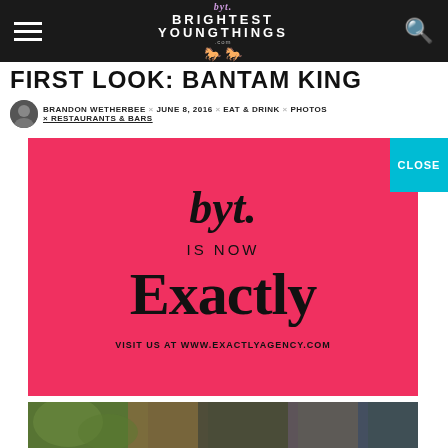BRIGHTEST YOUNG THINGS – Navigation bar with hamburger menu, BYT logo, and search icon
FIRST LOOK: BANTAM KING
BRANDON WETHERBEE × JUNE 8, 2016 × EAT & DRINK × PHOTOS × RESTAURANTS & BARS
[Figure (advertisement): Red/coral background advertisement overlay. BYT script logo at top, 'IS NOW' text below, large bold 'Exactly' text, 'VISIT US AT WWW.EXACTLYAGENCY.COM' at bottom. CLOSE button in teal at upper right corner.]
[Figure (photo): Partial view of a restaurant exterior with greenery and brick, bottom strip only visible]